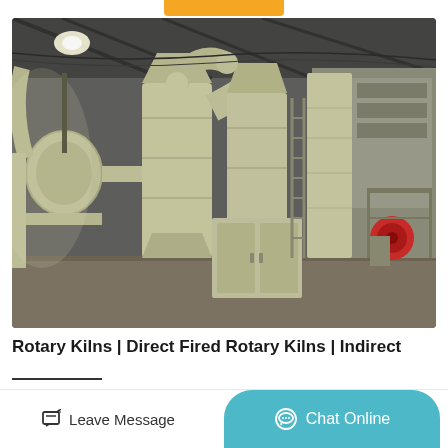[Figure (photo): Industrial facility interior showing large light green/cream colored industrial equipment including dust collectors, cyclone separators, vertical columns, ductwork and conveyor systems. Likely a rotary kiln processing plant photographed inside a large warehouse/factory building with steel roof structure visible.]
Rotary Kilns | Direct Fired Rotary Kilns | Indirect Fired...
Leave Message
Chat Online